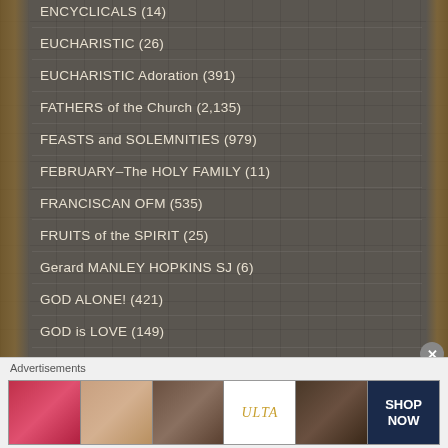ENCYCLICALS (14)
EUCHARISTIC (26)
EUCHARISTIC Adoration (391)
FATHERS of the Church (2,135)
FEASTS and SOLEMNITIES (979)
FEBRUARY–The HOLY FAMILY (11)
FRANCISCAN OFM (535)
FRUITS of the SPIRIT (25)
Gerard MANLEY HOPKINS SJ (6)
GOD ALONE! (421)
GOD is LOVE (149)
Advertisements
[Figure (photo): Ulta Beauty advertisement banner with makeup cosmetics imagery and SHOP NOW call to action]